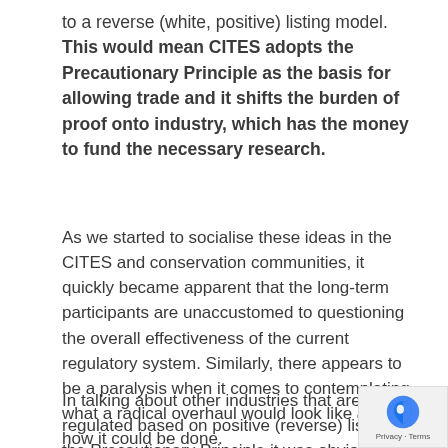to a reverse (white, positive) listing model. This would mean CITES adopts the Precautionary Principle as the basis for allowing trade and it shifts the burden of proof onto industry, which has the money to fund the necessary research.
As we started to socialise these ideas in the CITES and conservation communities, it quickly became apparent that the long-term participants are unaccustomed to questioning the overall effectiveness of the current regulatory system. Similarly, there appears to be a paralysis when it comes to contemplating what a radical overhaul would look like and how it could be done.
In talking about other industries that are regulated based on positive (reverse) lists or the Precautionary Principle it was obvious such